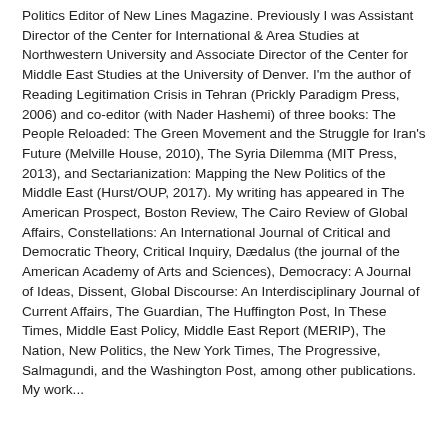Politics Editor of New Lines Magazine. Previously I was Assistant Director of the Center for International & Area Studies at Northwestern University and Associate Director of the Center for Middle East Studies at the University of Denver. I'm the author of Reading Legitimation Crisis in Tehran (Prickly Paradigm Press, 2006) and co-editor (with Nader Hashemi) of three books: The People Reloaded: The Green Movement and the Struggle for Iran's Future (Melville House, 2010), The Syria Dilemma (MIT Press, 2013), and Sectarianization: Mapping the New Politics of the Middle East (Hurst/OUP, 2017). My writing has appeared in The American Prospect, Boston Review, The Cairo Review of Global Affairs, Constellations: An International Journal of Critical and Democratic Theory, Critical Inquiry, Dædalus (the journal of the American Academy of Arts and Sciences), Democracy: A Journal of Ideas, Dissent, Global Discourse: An Interdisciplinary Journal of Current Affairs, The Guardian, The Huffington Post, In These Times, Middle East Policy, Middle East Report (MERIP), The Nation, New Politics, the New York Times, The Progressive, Salmagundi, and the Washington Post, among other publications. My work...